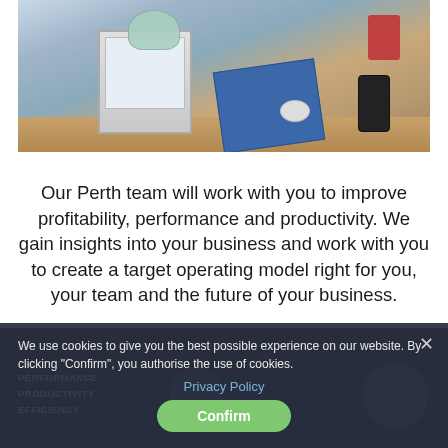[Figure (photo): Office desk photo showing a computer monitor with a surgical mask hanging on it, tablets, notebooks, a phone, mouse, pencil holder on a wooden desk surface. Blurred office background.]
Our Perth team will work with you to improve profitability, performance and productivity. We gain insights into your business and work with you to create a target operating model right for you, your team and the future of your business.
We use cookies to give you the best possible experience on our website. By clicking "Confirm", you authorise the use of cookies.
Privacy Policy
Confirm
PERFORMANCE
PRODUCTIVITY
EFFICIENCY